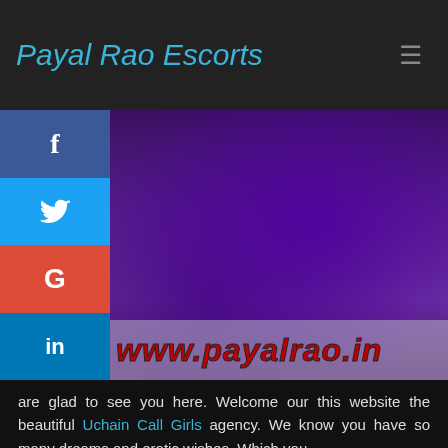Payal Rao Escorts
[Figure (photo): Woman wearing a purple/blue saree with gold border and black blouse, midriff visible]
www.payalrao.in
are glad to see you here. Welcome our this website the beautiful Uchain Call Girls agency. We know you have so many dreams and erotic wishes. Which you